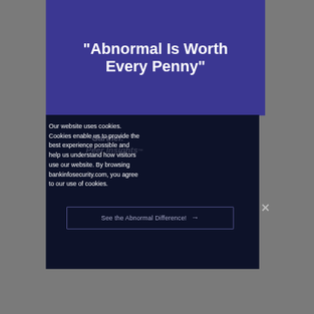"Abnormal Is Worth Every Penny"
Our website uses cookies. Cookies enable us to provide the best experience possible and help us understand how visitors use our website. By browsing bankinfosecurity.com, you agree to our use of cookies.
[Figure (other): Gartner Peer Insights watermark logo in dark background]
See the Abnormal Difference! →